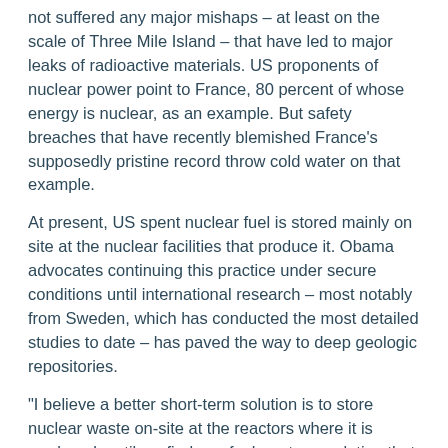not suffered any major mishaps – at least on the scale of Three Mile Island – that have led to major leaks of radioactive materials. US proponents of nuclear power point to France, 80 percent of whose energy is nuclear, as an example. But safety breaches that have recently blemished France's supposedly pristine record throw cold water on that example.
At present, US spent nuclear fuel is stored mainly on site at the nuclear facilities that produce it. Obama advocates continuing this practice under secure conditions until international research – most notably from Sweden, which has conducted the most detailed studies to date – has paved the way to deep geologic repositories.
"I believe a better short-term solution is to store nuclear waste on-site at the reactors where it is produced, until we find a safe, long-term solution that is based on sound science," Obama wrote in an op-ed piece in the Las Vegas Sun, which, as an expression of his opposition to Yucca, played no small part in helping him carry Nevada in the election.
Implicit in Obama's policy of waiting for more research before committing to solutions that are possibly as politically and